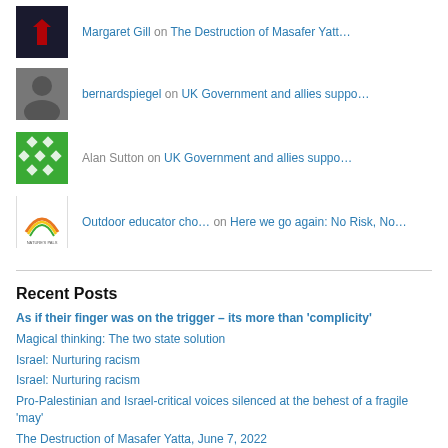Margaret Gill on The Destruction of Masafer Yatt…
bernardspiegel on UK Government and allies suppo…
Alan Sutton on UK Government and allies suppo…
Outdoor educator cho… on Here we go again: No Risk, No…
Recent Posts
As if their finger was on the trigger – its more than 'complicity'
Magical thinking: The two state solution
Israel: Nurturing racism
Israel: Nurturing racism
Pro-Palestinian and Israel-critical voices silenced at the behest of a fragile 'may'
The Destruction of Masafer Yatta, June 7, 2022